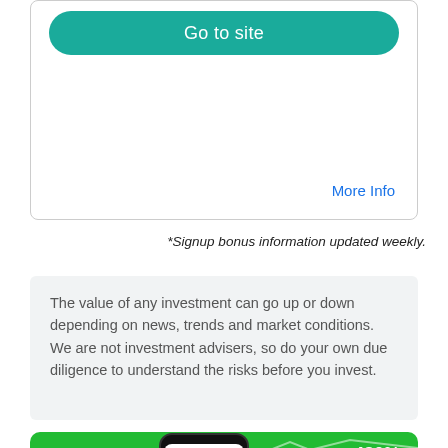[Figure (screenshot): Card with a teal 'Go to site' button and a 'More Info' link in blue]
*Signup bonus information updated weekly.
The value of any investment can go up or down depending on news, trends and market conditions. We are not investment advisers, so do your own due diligence to understand the risks before you invest.
[Figure (screenshot): Green promotional banner showing a phone with tickernerd app displaying Upstart Holdings Inc, UPST - $60 at time of writing, Issue #6, with 430% gain indicator and white line chart in background]